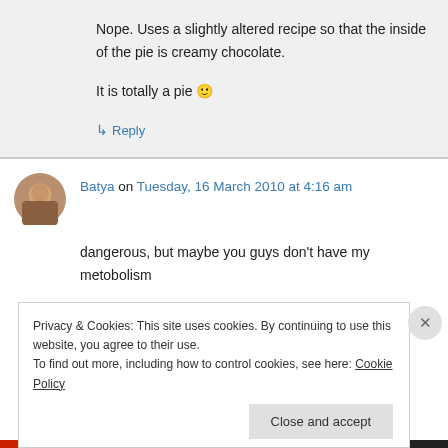Nope. Uses a slightly altered recipe so that the inside of the pie is creamy chocolate.

It is totally a pie 🙂
↳ Reply
Batya on Tuesday, 16 March 2010 at 4:16 am
dangerous, but maybe you guys don't have my metobolism
Privacy & Cookies: This site uses cookies. By continuing to use this website, you agree to their use.
To find out more, including how to control cookies, see here: Cookie Policy
Close and accept